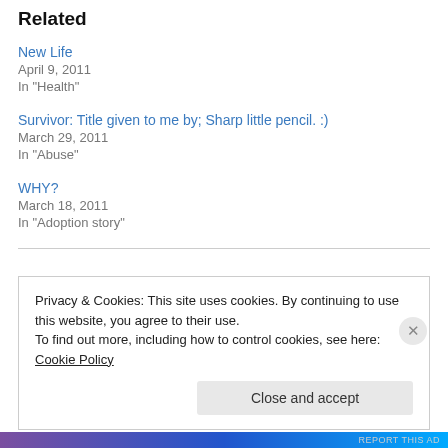Related
New Life
April 9, 2011
In "Health"
Survivor: Title given to me by; Sharp little pencil. :)
March 29, 2011
In "Abuse"
WHY?
March 18, 2011
In "Adoption story"
Privacy & Cookies: This site uses cookies. By continuing to use this website, you agree to their use.
To find out more, including how to control cookies, see here: Cookie Policy